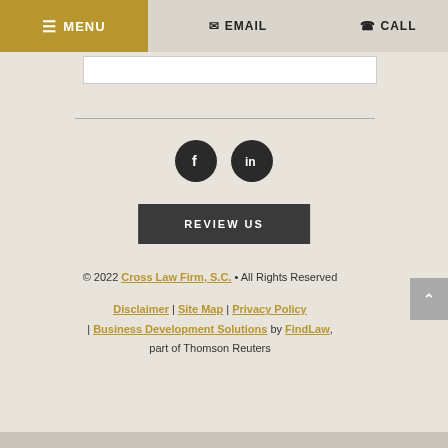MENU | EMAIL | CALL
[Figure (other): White input/search bar]
[Figure (other): Horizontal divider line]
[Figure (other): Social media icons: Facebook and LinkedIn circles]
[Figure (other): Dark gray REVIEW US button]
© 2022 Cross Law Firm, S.C. • All Rights Reserved
Disclaimer | Site Map | Privacy Policy | Business Development Solutions by FindLaw, part of Thomson Reuters